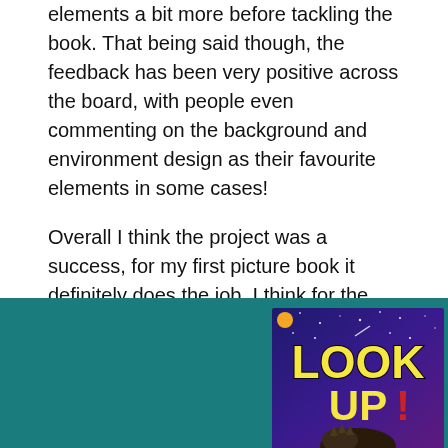elements a bit more before tackling the book. That being said though, the feedback has been very positive across the board, with people even commenting on the background and environment design as their favourite elements in some cases!
Overall I think the project was a success, for my first picture book it definitely does the job. I think for the upcoming two books it can only improve, and I look forward to fleshing out more of this world and bringing life to them all.
[Figure (photo): A teal/dark cyan background section showing a partial view of a book cover for 'Look Up!' with yellow block letters on a purple/dark blue starry night sky background, with what appears to be a hedgehog silhouette at the bottom. A Penguin publisher logo is visible in the top left of the book cover.]